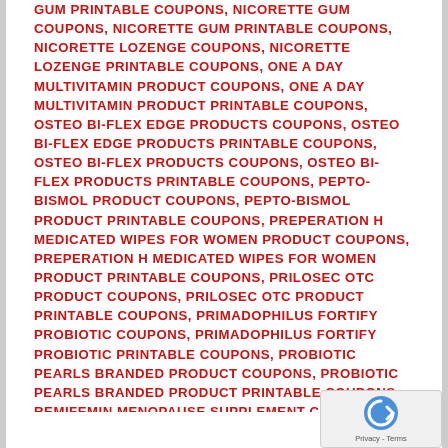GUM PRINTABLE COUPONS, NICORETTE GUM COUPONS, NICORETTE GUM PRINTABLE COUPONS, NICORETTE LOZENGE COUPONS, NICORETTE LOZENGE PRINTABLE COUPONS, ONE A DAY MULTIVITAMIN PRODUCT COUPONS, ONE A DAY MULTIVITAMIN PRODUCT PRINTABLE COUPONS, OSTEO BI-FLEX EDGE PRODUCTS COUPONS, OSTEO BI-FLEX EDGE PRODUCTS PRINTABLE COUPONS, OSTEO BI-FLEX PRODUCTS COUPONS, OSTEO BI-FLEX PRODUCTS PRINTABLE COUPONS, PEPTO-BISMOL PRODUCT COUPONS, PEPTO-BISMOL PRODUCT PRINTABLE COUPONS, PREPERATION H MEDICATED WIPES FOR WOMEN PRODUCT COUPONS, PREPERATION H MEDICATED WIPES FOR WOMEN PRODUCT PRINTABLE COUPONS, PRILOSEC OTC PRODUCT COUPONS, PRILOSEC OTC PRODUCT PRINTABLE COUPONS, PRIMADOPHILUS FORTIFY PROBIOTIC COUPONS, PRIMADOPHILUS FORTIFY PROBIOTIC PRINTABLE COUPONS, PROBIOTIC PEARLS BRANDED PRODUCT COUPONS, PROBIOTIC PEARLS BRANDED PRODUCT PRINTABLE COUPONS, REMIFEMIN MENOPAUSE SUPPLEMENT COUPONS, REMIFEMIN MENOPAUSE SUPPLEMENT PRINTABLE COUPONS, REPHRESH PRINTABLE COUPON, REPHRESH PRO-B PROBIOTIC FEMININE SUPPLEMENT COUPONS, REPHRESH PRO-B PROBIOTIC FEMININE SUPPLEMENT PRINTABLE COUPONS, REPHRESH PROBIOTIC COUPON, REPHRESH